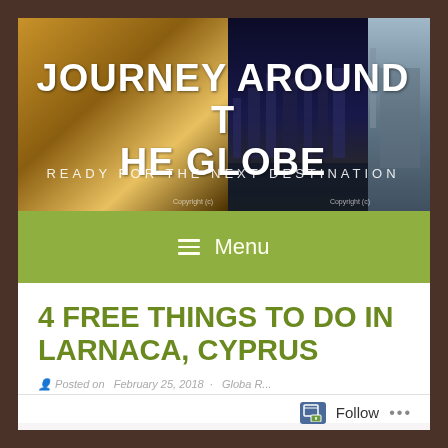[Figure (illustration): Website header banner showing 'Journey Around The Globe' travel blog with three collaged travel photos - a fountain (Trevi Fountain-like), a European parliament building at night, and a Middle Eastern or Mediterranean architectural scene. White bold title text 'JOURNEY AROUND THE GLOBE' and subtitle 'READY FOR THE NEXT DESTINATION']
JOURNEY AROUND THE GLOBE
READY FOR THE NEXT DESTINATION
≡ Menu
4 FREE THINGS TO DO IN LARNACA, CYPRUS
Posted on February 25, 2018 · Global Roamer
Follow ...